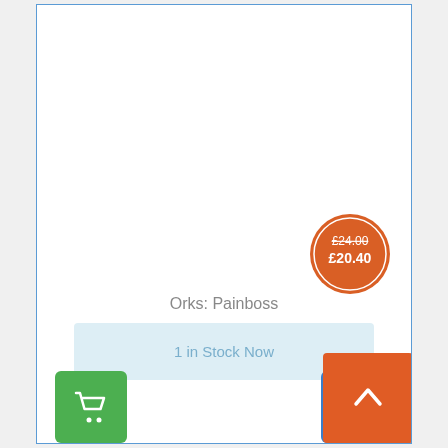[Figure (other): Product image area (white/blank product display area)]
[Figure (other): Orange circular price badge showing original price £24.00 struck through and sale price £20.40]
Orks: Painboss
1 in Stock Now
[Figure (other): Green shopping cart button icon]
[Figure (other): Blue heart/wishlist button icon]
[Figure (other): Orange scroll-to-top button with caret/chevron up icon]